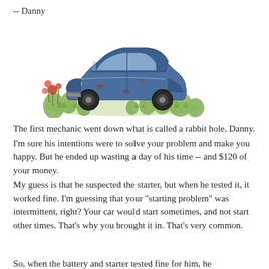-- Danny
[Figure (illustration): Watercolor illustration of an old blue rusted car overgrown with grass and red flowers, sitting abandoned in vegetation]
The first mechanic went down what is called a rabbit hole, Danny. I'm sure his intentions were to solve your problem and make you happy. But he ended up wasting a day of his time -- and $120 of your money.
My guess is that he suspected the starter, but when he tested it, it worked fine. I'm guessing that your "starting problem" was intermittent, right? Your car would start sometimes, and not start other times. That's why you brought it in. That's very common.
So, when the battery and starter tested fine for him, he